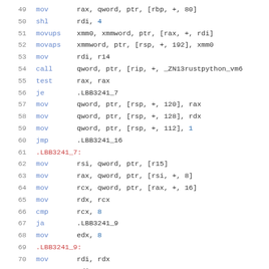49  mov    rax, qword, ptr, [rbp, +, 80]
50  shl    rdi, 4
51  movups xmm0, xmmword, ptr, [rax, +, rdi]
52  movaps xmmword, ptr, [rsp, +, 192], xmm0
53  mov    rdi, r14
54  call   qword, ptr, [rip, +, _ZN13rustpython_vm6
55  test   rax, rax
56  je     .LBB3241_7
57  mov    qword, ptr, [rsp, +, 120], rax
58  mov    qword, ptr, [rsp, +, 128], rdx
59  mov    qword, ptr, [rsp, +, 112], 1
60  jmp    .LBB3241_16
61  .LBB3241_7:
62  mov    rsi, qword, ptr, [r15]
63  mov    rax, qword, ptr, [rsi, +, 8]
64  mov    rcx, qword, ptr, [rax, +, 16]
65  mov    rdx, rcx
66  cmp    rcx, 8
67  ja     .LBB3241_9
68  mov    edx, 8
69  .LBB3241_9:
70  mov    rdi, rdx
71  ...